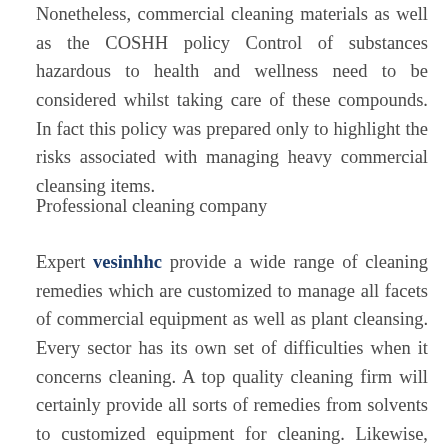Nonetheless, commercial cleaning materials as well as the COSHH policy Control of substances hazardous to health and wellness need to be considered whilst taking care of these compounds. In fact this policy was prepared only to highlight the risks associated with managing heavy commercial cleansing items.
Professional cleaning company
Expert vesinhhc provide a wide range of cleaning remedies which are customized to manage all facets of commercial equipment as well as plant cleansing. Every sector has its own set of difficulties when it concerns cleaning. A top quality cleaning firm will certainly provide all sorts of remedies from solvents to customized equipment for cleaning. Likewise, they ensure that all quality assurance and also ecological plans are met. Advanced approaches for abrasion control and also